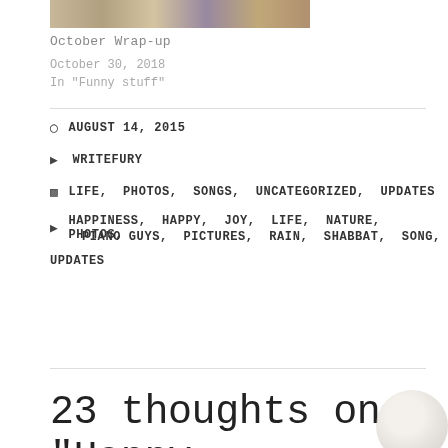[Figure (photo): Partial image strip at top of page showing a colorful nature/autumn scene]
October Wrap-up
October 30, 2018
In "Funny stuff"
AUGUST 14, 2015
WRITEFURY
LIFE, PHOTOS, SONGS, UNCATEGORIZED, UPDATES
HAPPINESS, HAPPY, JOY, LIFE, NATURE, PHOTOS, PIANO GUYS, PICTURES, RAIN, SHABBAT, SONG, UPDATES
23 thoughts on “Happy, Rainy Day”